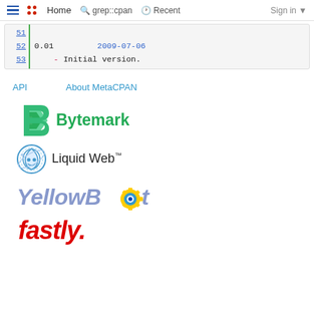☰  ⠿ Home  🔍 grep::cpan  🕐 Recent  Sign in ▾
| 51 |  |  |  |
| 52 | 0.01 | 2009-07-06 |  |
| 53 |  | - | Initial version. |
API    About MetaCPAN
[Figure (logo): Bytemark logo - green angular B icon with 'Bytemark' text in green]
[Figure (logo): Liquid Web logo - circular droplet face icon with 'Liquid Web™' text]
[Figure (logo): YellowBot logo - blue/purple italic text with yellow gear robot icon]
[Figure (logo): fastly logo - red bold italic text 'fastly.']